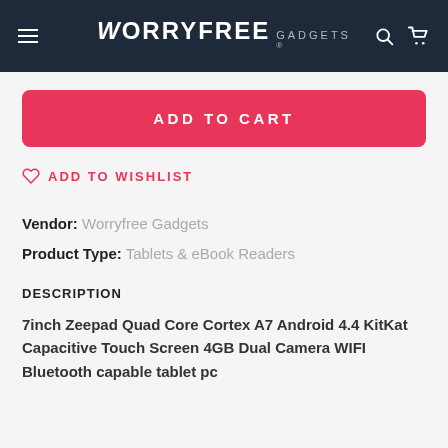WORRYFREE GADGETS
ADD TO CART
ADD TO WISHLIST
Vendor: Worryfree Gadgets
Product Type: Tablets & eBook Readers
DESCRIPTION
7inch Zeepad Quad Core Cortex A7 Android 4.4 KitKat Capacitive Touch Screen 4GB Dual Camera WIFI Bluetooth capable tablet pc